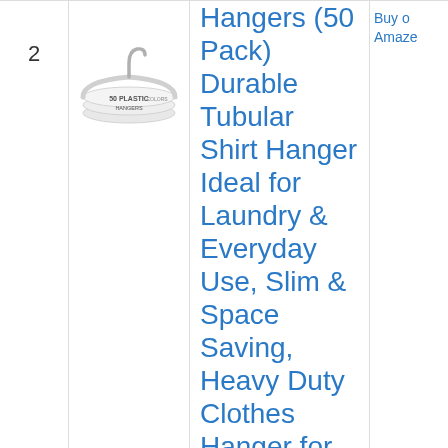2
[Figure (photo): Product image showing a stack of white plastic shirt hangers, labeled '50 PLASTIC HANGERS' and '8 COLORS']
Hangers (50 Pack) Durable Tubular Shirt Hanger Ideal for Laundry & Everyday Use, Slim & Space Saving, Heavy Duty Clothes Hanger for Coats, Pants, Dress, Etc. Hangs up to
Buy on Amazon